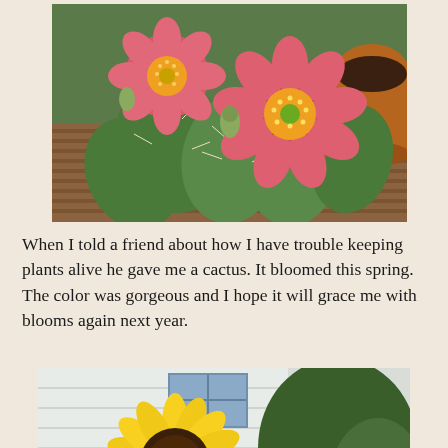[Figure (photo): Close-up photograph of a blooming cactus (prickly pear) with vivid pink/coral flowers with yellow stamens, green pads with spines, set against a wooden deck background with a terracotta pot visible.]
When I told a friend about how I have trouble keeping plants alive he gave me a cactus. It bloomed this spring. The color was gorgeous and I hope it will grace me with blooms again next year.
[Figure (photo): Photograph of a large bright yellow sunflower in full bloom with a dark brown center, surrounded by green leaves and other plants, with a white building wall in the background.]